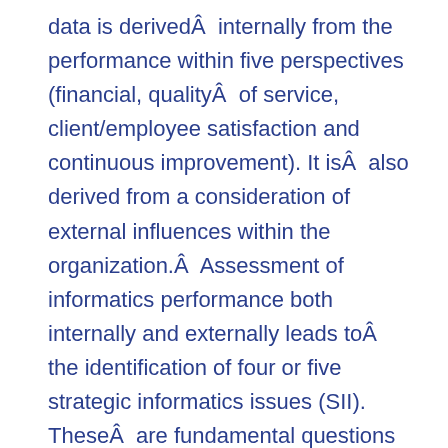data is derivedÂ  internally from the performance within five perspectives (financial, qualityÂ  of service, client/employee satisfaction and continuous improvement). It isÂ  also derived from a consideration of external influences within the organization.Â  Assessment of informatics performance both internally and externally leads toÂ  the identification of four or five strategic informatics issues (SII). TheseÂ  are fundamental questions affecting the organization’s mandate, values, programs/services,Â  and finances. It is important to deal with these SIIs if the organization’sÂ  informatics function is to